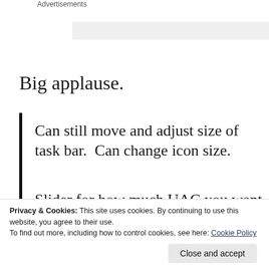Advertisements
[Figure (other): Advertisement placeholder box]
Big applause.
Can still move and adjust size of task bar.  Can change icon size.
Can customise shut-down icon
Privacy & Cookies: This site uses cookies. By continuing to use this website, you agree to their use.
To find out more, including how to control cookies, see here: Cookie Policy
Slider for how much UAC you want to